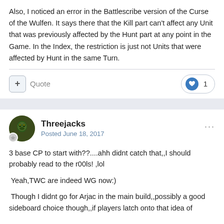Also, I noticed an error in the Battlescribe version of the Curse of the Wulfen. It says there that the Kill part can't affect any Unit that was previously affected by the Hunt part at any point in the Game. In the Index, the restriction is just not Units that were affected by Hunt in the same Turn.
Threejacks
Posted June 18, 2017
3 base CP to start with??....ahh didnt catch that,,I should probably read to the r00ls! ,lol

 Yeah,TWC are indeed WG now:)

 Though I didnt go for Arjac in the main build,,possibly a good sideboard choice though,,if players latch onto that idea of